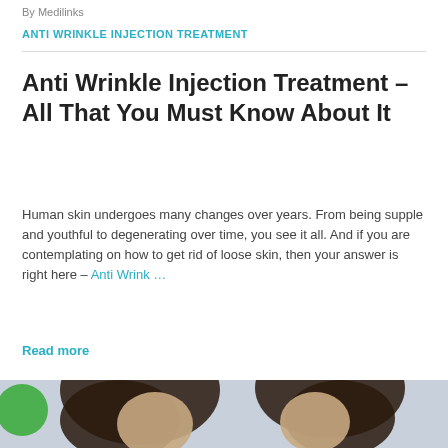By Medilinks
ANTI WRINKLE INJECTION TREATMENT
Anti Wrinkle Injection Treatment – All That You Must Know About It
Human skin undergoes many changes over years. From being supple and youthful to degenerating over time, you see it all. And if you are contemplating on how to get rid of loose skin, then your answer is right here – Anti Wrink …
Read more
[Figure (photo): Two people shown from behind/side profile with dark hair against a light grey background, with a green circle avatar in the lower left corner]